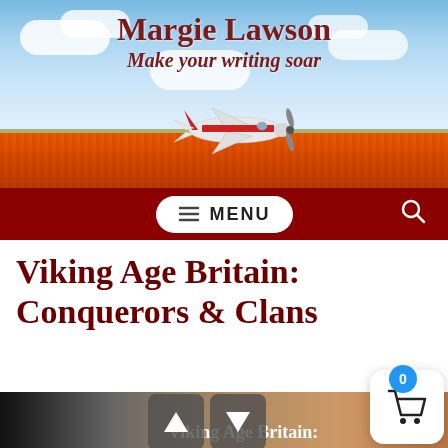[Figure (screenshot): Margie Lawson website header banner with tulip field and airplane. Text: 'Margie Lawson / Make your writing soar']
Margie Lawson Make your writing soar
[Figure (screenshot): Navigation bar with MENU button and search icon on dark red background]
Viking Age Britain: Conquerors & Clans
[Figure (photo): Bottom strip showing 'Viking Age Britain:' text with navigation up/down arrows and a partially visible image]